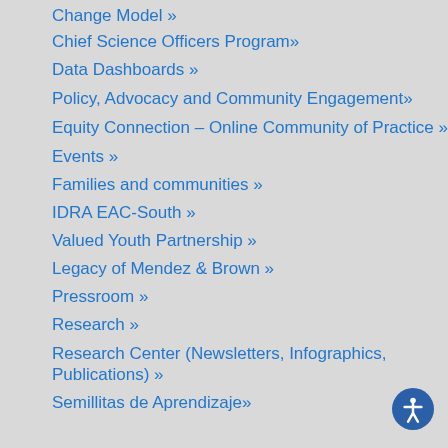Change Model »
Chief Science Officers Program»
Data Dashboards »
Policy, Advocacy and Community Engagement»
Equity Connection – Online Community of Practice »
Events »
Families and communities »
IDRA EAC-South »
Valued Youth Partnership »
Legacy of Mendez & Brown »
Pressroom »
Research »
Research Center (Newsletters, Infographics, Publications) »
Semillitas de Aprendizaje»